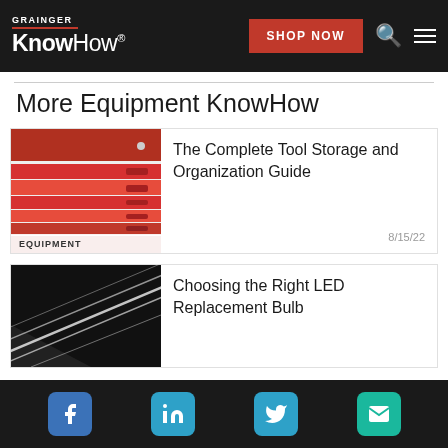GRAINGER KnowHow® | SHOP NOW
More Equipment KnowHow
[Figure (photo): Red tool chest with multiple drawers, labeled EQUIPMENT below]
The Complete Tool Storage and Organization Guide
8/15/22
[Figure (photo): Dark background with diagonal white LED light strips]
Choosing the Right LED Replacement Bulb
Facebook | LinkedIn | Twitter | Email social icons